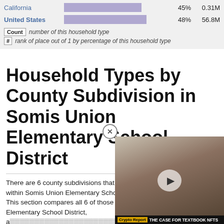| Place | Bar | % | Count |
| --- | --- | --- | --- |
| California |  | 45% | 0.31M |
| United States |  | 48% | 56.8M |
Count  number of this household type
#  rank of place out of 1 by percentage of this household type
Household Types by County Subdivision in Somis Union Elementary School District
There are 6 county subdivisions that are fully or partially contained within Somis Union Elementary School District (0 fully and 6 partially). This section compares all 6 of those to each other, Somis Union Elementary School District, and other geographies that substantially overlap with Somis Un...
[Figure (screenshot): Dropdown button labeled 'Married' with a down arrow]
Married by County Subdivision